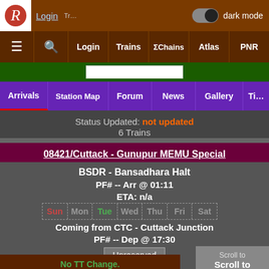Login | dark mode | (toggle) | Navigation: ≡ Search Login Trains ΣChains Atlas PNR
Arrivals | Station Map | Forum | News | Gallery | Ti…
Status Updated: not updated
6 Trains
08421/Cuttack - Gunupur MEMU Special
BSDR - Bansadhara Halt
PF# -- Arr @ 01:11
ETA: n/a
Sun Mon Tue Wed Thu Fri Sat
Coming from CTC - Cuttack Junction
PF# -- Dep @ 17:30
Unreserved
No TT Change.
TT Updated: Aug 02 (19:39) by _V_K_^~
Scroll to
Scroll to
Bottom